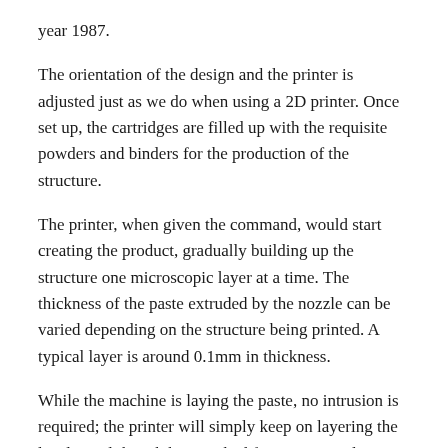year 1987.
The orientation of the design and the printer is adjusted just as we do when using a 2D printer. Once set up, the cartridges are filled up with the requisite powders and binders for the production of the structure.
The printer, when given the command, would start creating the product, gradually building up the structure one microscopic layer at a time. The thickness of the paste extruded by the nozzle can be varied depending on the structure being printed. A typical layer is around 0.1mm in thickness.
While the machine is laying the paste, no intrusion is required; the printer will simply keep on layering the levels until the job has reached fruition. Periodic checks are all that are required to ensure everything is alright. The time period required for the completion of a job can range from several hours to days.